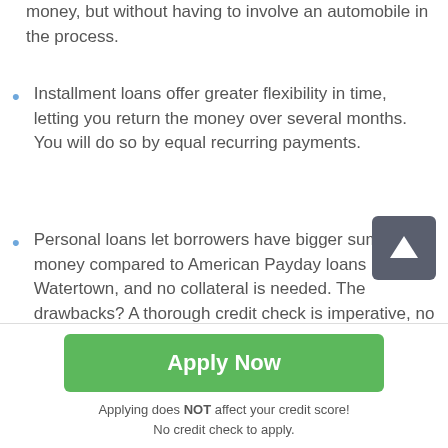money, but without having to involve an automobile in the process.
Installment loans offer greater flexibility in time, letting you return the money over several months. You will do so by equal recurring payments.
Personal loans let borrowers have bigger sums of money compared to American Payday loans Watertown, and no collateral is needed. The drawbacks? A thorough credit check is imperative, no instant approval is available, and there is no way to pull it off with bad credit.
A cash advance is something you resort to when you
Apply Now
Applying does NOT affect your credit score!
No credit check to apply.